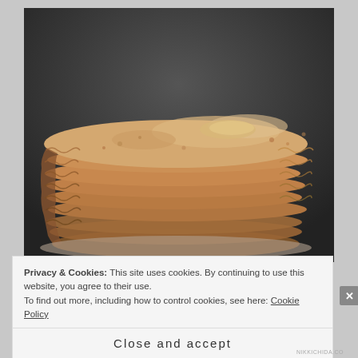[Figure (photo): A stack of flatbreads (chapati/roti/tortilla) piled on top of each other, photographed against a dark background. The flatbreads are round, light tan/beige in color with slightly uneven edges and air pockets visible.]
Privacy & Cookies: This site uses cookies. By continuing to use this website, you agree to their use.
To find out more, including how to control cookies, see here: Cookie Policy
Close and accept